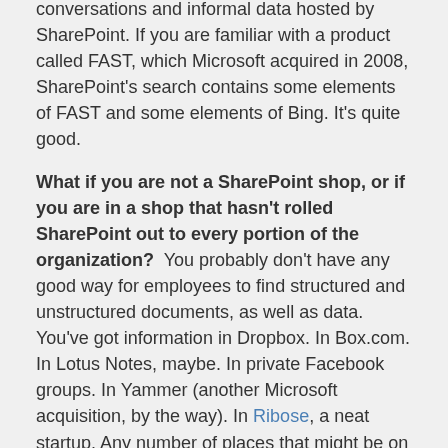conversations and informal data hosted by SharePoint. If you are familiar with a product called FAST, which Microsoft acquired in 2008, SharePoint's search contains some elements of FAST and some elements of Bing. It's quite good.
What if you are not a SharePoint shop, or if you are in a shop that hasn't rolled SharePoint out to every portion of the organization? You probably don't have any good way for employees to find structured and unstructured documents, as well as data. You've got information in Dropbox. In Box.com. In Lotus Notes, maybe. In private Facebook groups. In Yammer (another Microsoft acquisition, by the way). In Ribose, a neat startup. Any number of places that might be on enterprise servers or cloud services, and I'm not even talking about the myriad code repositories that you may have, from ClearCase to Perforce to Subversion to GitHub.
All of those sources are good. There are reasons to use each of them for document sharing and collaboration and